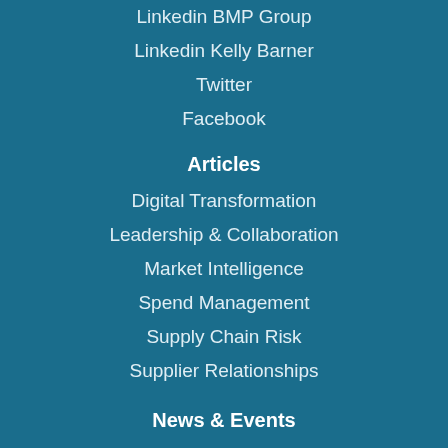Linkedin BMP Group
Linkedin Kelly Barner
Twitter
Facebook
Articles
Digital Transformation
Leadership & Collaboration
Market Intelligence
Spend Management
Supply Chain Risk
Supplier Relationships
News & Events
BMP News